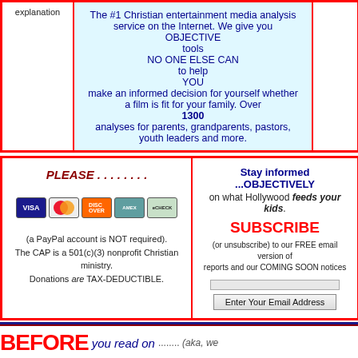explanation
The #1 Christian entertainment media analysis service on the Internet. We give you OBJECTIVE tools NO ONE ELSE CAN to help YOU make an informed decision for yourself whether a film is fit for your family. Over 1300 analyses for parents, grandparents, pastors, youth leaders and more.
PLEASE . . . . . . . .
[Figure (other): Payment method icons: Visa, MasterCard, Discover, American Express, eCheck]
(a PayPal account is NOT required). The CAP is a 501(c)(3) nonprofit Christian ministry. Donations are TAX-DEDUCTIBLE.
Stay informed ...OBJECTIVELY on what Hollywood feeds your kids. SUBSCRIBE (or unsubscribe) to our FREE email version of reports and our COMING SOON notices
Enter Your Email Address
BEFORE you read on ........ (aka, we